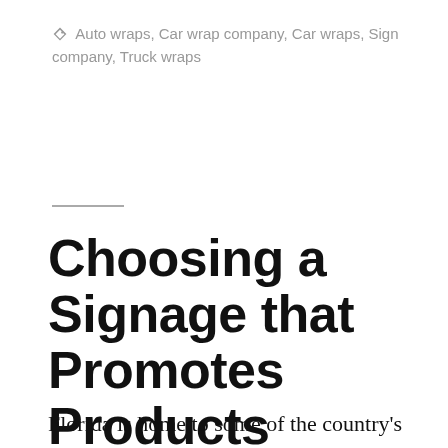Auto wraps, Car wrap company, Car wraps, Sign company, Truck wraps
Choosing a Signage that Promotes Products Effectively
Florida is home to some of the country's